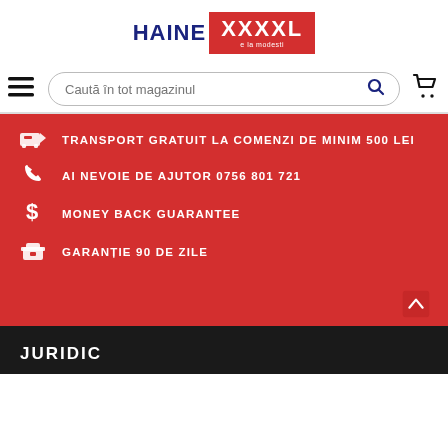[Figure (logo): HAINE XXXXL logo with red background box for XXXXL text]
Caută în tot magazinul
TRANSPORT GRATUIT LA COMENZI DE MINIM 500 LEI
AI NEVOIE DE AJUTOR 0756 801 721
MONEY BACK GUARANTEE
GARANȚIE 90 DE ZILE
JURIDIC